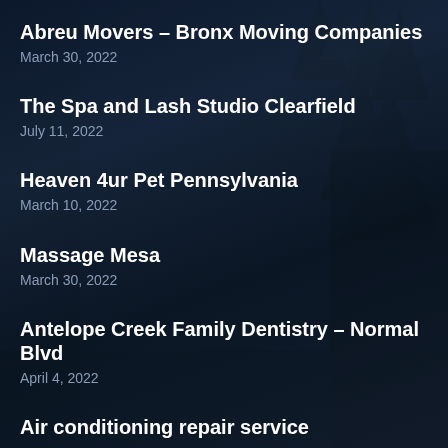Abreu Movers – Bronx Moving Companies
March 30, 2022
The Spa and Lash Studio Clearfield
July 11, 2022
Heaven 4ur Pet Pennsylvania
March 10, 2022
Massage Mesa
March 30, 2022
Antelope Creek Family Dentistry – Normal Blvd
April 4, 2022
Air conditioning repair service